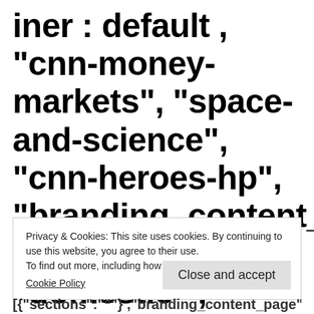iner : default , cnn-money-markets", "space-and-science", "cnn-heroes-hp", "branding_content_card": ""} , edition: "domestic" , sourceId: "']BANNER=|pagerendered| ((lubuntu at wor3))
Privacy & Cookies: This site uses cookies. By continuing to use this website, you agree to their use.
To find out more, including how to control cookies, see here:
Cookie Policy
[Close and accept]
[{"sections":"""} ,"branding_content_page":"d